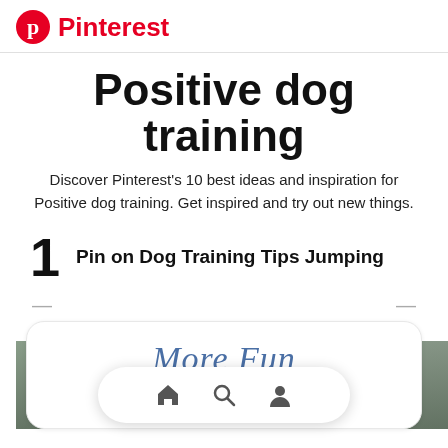Pinterest
Positive dog training
Discover Pinterest's 10 best ideas and inspiration for Positive dog training. Get inspired and try out new things.
1   Pin on Dog Training Tips Jumping
[Figure (screenshot): A rounded card showing 'More Fun' in blue italic text and 'DogVills.com' in green text, with a nature photo at the bottom and a navigation bar with home, search, and profile icons.]